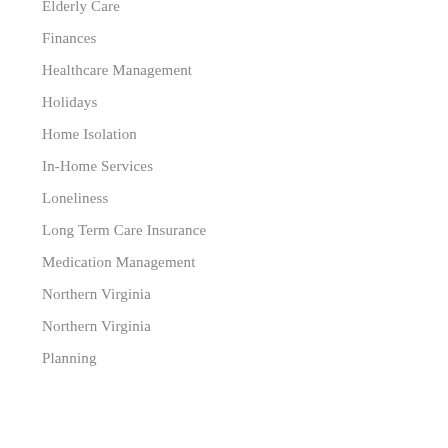Elderly Care
Finances
Healthcare Management
Holidays
Home Isolation
In-Home Services
Loneliness
Long Term Care Insurance
Medication Management
Northern Virginia
Northern Virginia
Planning